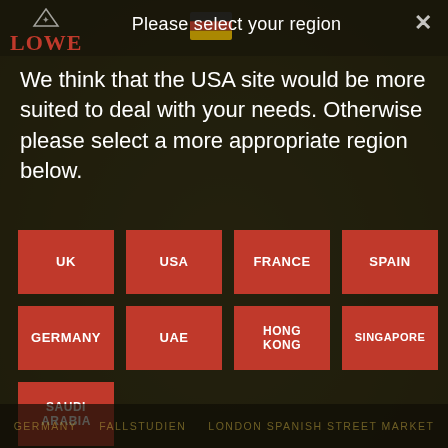[Figure (screenshot): Website region selector modal overlay on a dark olive/brown background showing the Lowe logo and a German flag in the header. A modal dialog prompts the user to select their region with a grid of red buttons for UK, USA, France, Spain, Germany, UAE, Hong Kong, Singapore, and Saudi Arabia. Footer shows navigation links: Germany, Fallstudien, London Spanish Street Market.]
Please select your region
We think that the USA site would be more suited to deal with your needs. Otherwise please select a more appropriate region below.
UK
USA
FRANCE
SPAIN
GERMANY
UAE
HONG KONG
SINGAPORE
SAUDI ARABIA
GERMANY   FALLSTUDIEN   LONDON SPANISH STREET MARKET